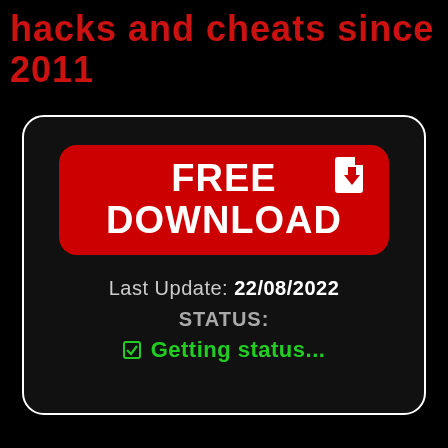hacks and cheats since 2011
[Figure (infographic): Black rounded rectangle card with a red FREE DOWNLOAD button with a download icon, showing Last Update: 22/08/2022, STATUS:, and green text 'Getting status...']